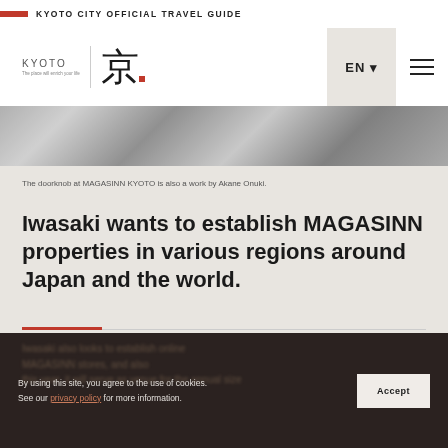KYOTO CITY OFFICIAL TRAVEL GUIDE
[Figure (logo): Kyoto city logo with kanji character and tagline 'The place will enrich your life', with EN language selector and hamburger menu]
[Figure (photo): Partial image of a doorknob at MAGASINN KYOTO, a work by Akane Onuki]
The doorknob at MAGASINN KYOTO is also a work by Akane Onuki.
Iwasaki wants to establish MAGASINN properties in various regions around Japan and the world.
By using this site, you agree to the use of cookies. See our privacy policy for more information.